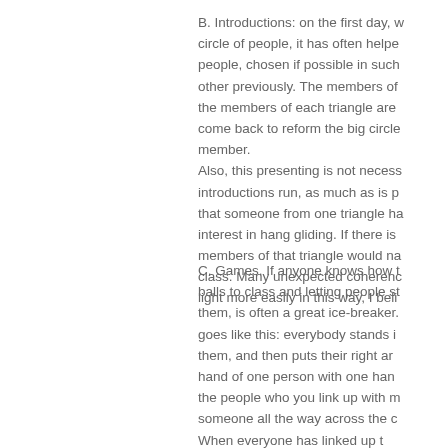B. Introductions: on the first day, w circle of people, it has often helpe people, chosen if possible in such other previously. The members of the members of each triangle are come back to reform the big circle member. Also, this presenting is not necess introductions run, as much as is p that someone from one triangle ha interest in hang gliding. If there is members of that triangle would na class. Many unexpected coherenc light more easily in this way, I beli
C. Games. If anyone knows how t balls to class and letting people st them, is often a great ice-breaker. goes like this: everybody stands i them, and then puts their right ar hand of one person with one han the people who you link up with m someone all the way across the c When everyone has linked up t